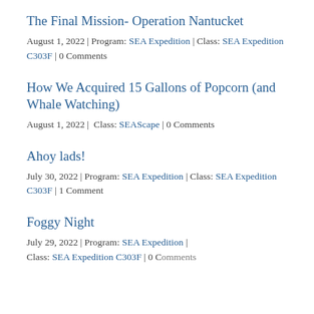The Final Mission- Operation Nantucket
August 1, 2022 | Program: SEA Expedition | Class: SEA Expedition C303F | 0 Comments
How We Acquired 15 Gallons of Popcorn (and Whale Watching)
August 1, 2022 | Class: SEAScape | 0 Comments
Ahoy lads!
July 30, 2022 | Program: SEA Expedition | Class: SEA Expedition C303F | 1 Comment
Foggy Night
July 29, 2022 | Program: SEA Expedition | Class: SEA Expedition C303F | 0 Comments